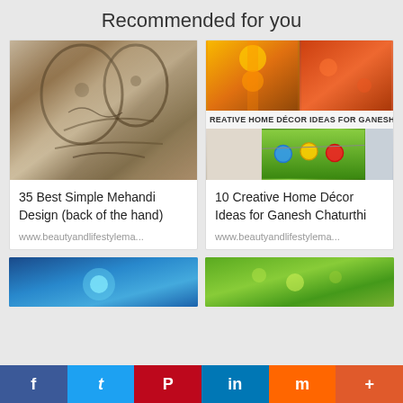Recommended for you
[Figure (photo): Hands decorated with intricate henna/mehndi patterns]
35 Best Simple Mehandi Design (back of the hand)
www.beautyandlifestylema...
[Figure (photo): Composite image showing marigold garlands, diyas, and colorful decorations for Ganesh Chaturthi with text overlay 'Creative Home Décor Ideas for Ganesh Ch']
10 Creative Home Décor Ideas for Ganesh Chaturthi
www.beautyandlifestylema...
[Figure (photo): Partial image of blue/teal background]
[Figure (photo): Partial image of green/nature background]